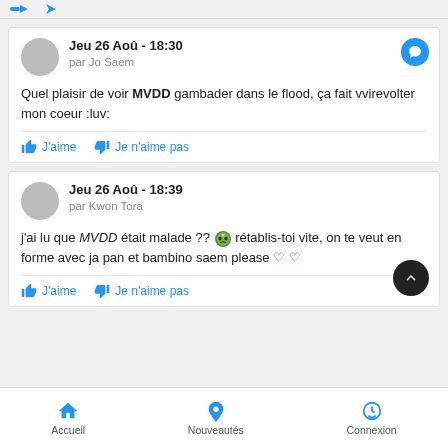Jeu 26 Aoû - 18:30
par Jo Saem

Quel plaisir de voir MVDD gambader dans le flood, ça fait vvirevolter mon coeur :luv:

J'aime  Je n'aime pas
Jeu 26 Aoû - 18:39
par Kwon Tora

j'ai lu que MVDD était malade ?? 🤓 rétablis-toi vite, on te veut en forme avec ja pan et bambino saem please 🤍 🤍

J'aime  Je n'aime pas
Accueil  Nouveautés  Connexion